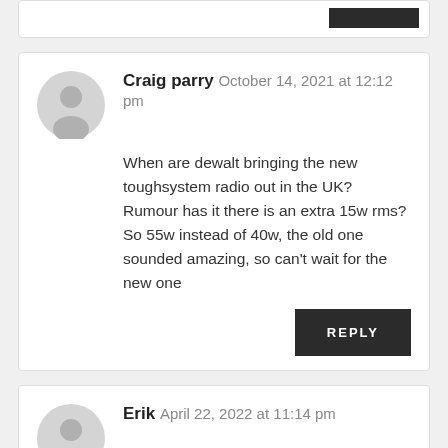[Top comment card strip with reply button]
Craig parry — October 14, 2021 at 12:12 pm
When are dewalt bringing the new toughsystem radio out in the UK? Rumour has it there is an extra 15w rms? So 55w instead of 40w, the old one sounded amazing, so can't wait for the new one
REPLY
Erik — April 22, 2022 at 11:14 pm
What is the NFC icon underneath the ye... flip up clip? Nothing mentions it.